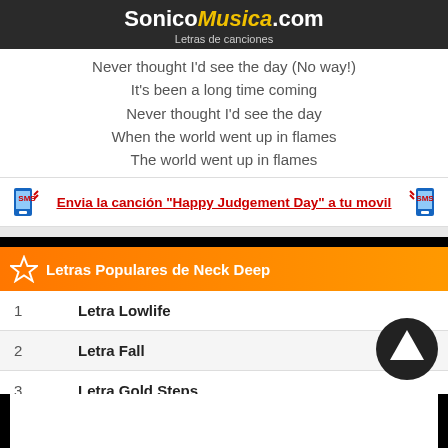SonicoMusica.com — Letras de canciones
Never thought I'd see the day (No way!)
It's been a long time coming
Never thought I'd see the day
When the world went up in flames
The world went up in flames
Envia la canción "Happy Judgement Day" a tu movil
Letras Populares de Neck Deep
1  Letra Lowlife
2  Letra Fall
3  Letra Gold Steps
4  Letra Parachute
5  Letra Motion Sickness
6  Letra What Took You So Long (Acoustic)